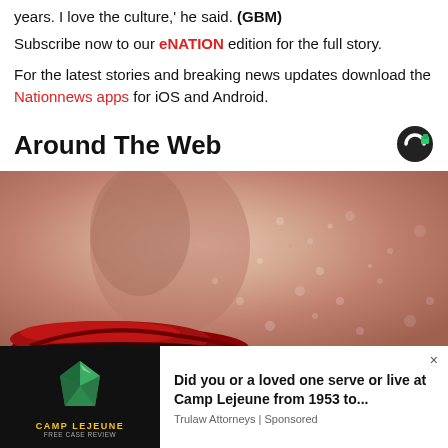years. I love the culture,' he said. (GBM)
Subscribe now to our eNATION edition for the full story.
For the latest stories and breaking news updates download the Nationnews apps for iOS and Android.
Around The Web
[Figure (photo): Close-up photograph of a person's face showing textured skin and red lips]
[Figure (photo): Camp Lejeune advertisement overlay showing green gem logo on black background]
Did you or a loved one serve or live at Camp Lejeune from 1953 to...
Trulaw Attorneys | Sponsored